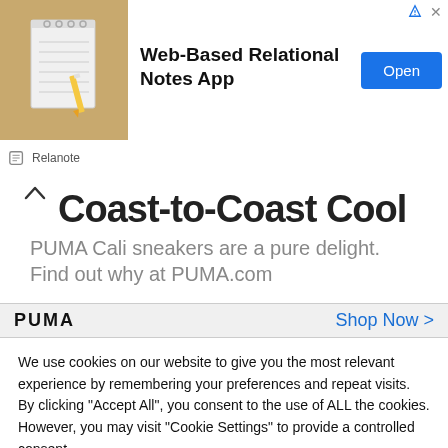[Figure (screenshot): Advertisement banner for Relanote Web-Based Relational Notes App with notebook image, title text, Open button, and Relanote brand icon]
[Figure (screenshot): PUMA advertisement showing 'Coast-to-Coast Cool' headline with subtext 'PUMA Cali sneakers are a pure delight. Find out why at PUMA.com', PUMA logo and Shop Now link at bottom]
We use cookies on our website to give you the most relevant experience by remembering your preferences and repeat visits. By clicking "Accept All", you consent to the use of ALL the cookies. However, you may visit "Cookie Settings" to provide a controlled consent.